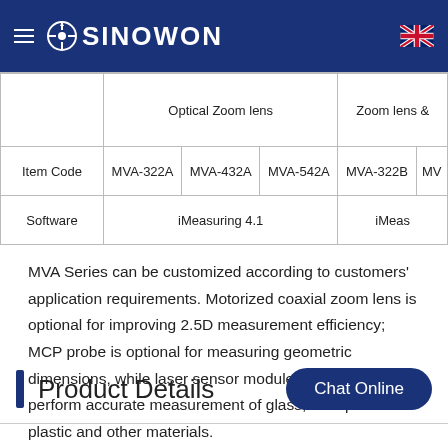SINOWON
|  | Optical Zoom lens |  |  | Zoom lens & |
| --- | --- | --- | --- | --- |
| Item Code | MVA-322A | MVA-432A | MVA-542A | MVA-322B | MV... |
| Software | iMeasuring 4.1 |  |  | iMeas... |
MVA Series can be customized according to customers' application requirements. Motorized coaxial zoom lens is optional for improving 2.5D measurement efficiency; MCP probe is optional for measuring geometric dimensions, while laser sensor module is selected to perform accurate measurement of glass, transparent plastic and other materials.
Product Details